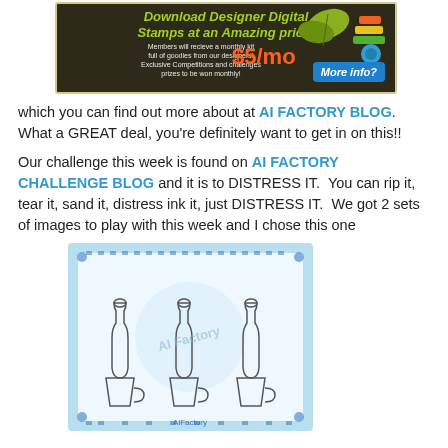[Figure (illustration): Promotional banner for AI Factory digital stamps membership at $5/mo with colorful design on dark background, showing download offer and 'More info?' button]
which you can find out more about at AI FACTORY BLOG. What a GREAT deal, you're definitely want to get in on this!!
Our challenge this week is found on AI FACTORY CHALLENGE BLOG and it is to DISTRESS IT. You can rip it, tear it, sand it, distress ink it, just DISTRESS IT. We got 2 sets of images to play with this week and I chose this one
[Figure (illustration): Digital stamp sheet showing three wine/beer bottles in cups/mugs, illustrated in outline style with decorative border, watermarked with AI Factory logo]